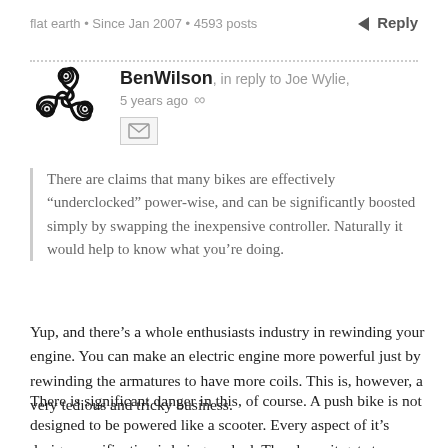flat earth • Since Jan 2007 • 4593 posts
BenWilson, in reply to Joe Wylie, 5 years ago
[Figure (logo): Triskelion spiral avatar icon in black]
[Figure (other): Envelope/message icon button]
There are claims that many bikes are effectively “underclocked” power-wise, and can be significantly boosted simply by swapping the inexpensive controller. Naturally it would help to know what you’re doing.
Yup, and there’s a whole enthusiasts industry in rewinding your engine. You can make an electric engine more powerful just by rewinding the armatures to have more coils. This is, however, a very tedious and tricky business.
There is significant danger in this, of course. A push bike is not designed to be powered like a scooter. Every aspect of it’s design specification is being pushed. The closer it gets to a motorbike, the more it should be regulated as if it actually is a